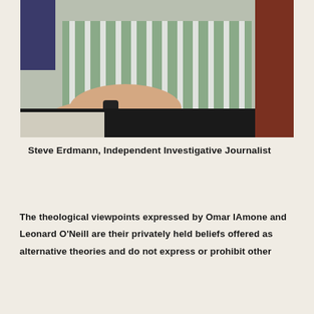[Figure (photo): A man wearing a green and white striped shirt and a watch, seated with arms resting on a surface. Upper body portrait photo, cropped at waist level.]
Steve Erdmann,  Independent Investigative Journalist
The theological viewpoints expressed by Omar IAmone and Leonard O'Neill are their privately held beliefs offered as alternative theories and do not express or prohibit other